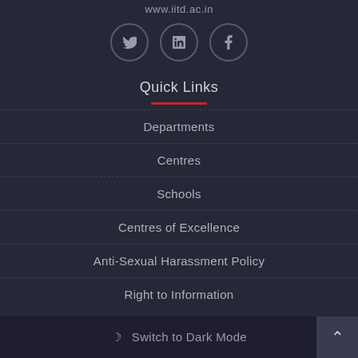www.iitd.ac.in
[Figure (other): Social media icons: Twitter, LinkedIn, Facebook in circular bordered buttons]
Quick Links
Departments
Centres
Schools
Centres of Excellence
Anti-Sexual Harassment Policy
Right to Information
Switch to Dark Mode